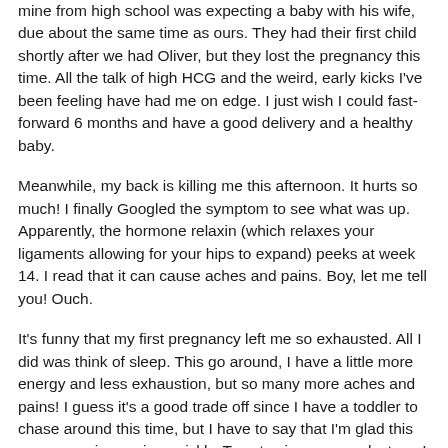mine from high school was expecting a baby with his wife, due about the same time as ours. They had their first child shortly after we had Oliver, but they lost the pregnancy this time. All the talk of high HCG and the weird, early kicks I've been feeling have had me on edge. I just wish I could fast-forward 6 months and have a good delivery and a healthy baby.
Meanwhile, my back is killing me this afternoon. It hurts so much! I finally Googled the symptom to see what was up. Apparently, the hormone relaxin (which relaxes your ligaments allowing for your hips to expand) peeks at week 14. I read that it can cause aches and pains. Boy, let me tell you! Ouch.
It's funny that my first pregnancy left me so exhausted. All I did was think of sleep. This go around, I have a little more energy and less exhaustion, but so many more aches and pains! I guess it's a good trade off since I have a toddler to chase around this time, but I have to say that I'm glad this pregnancy is passing quickly. Twenty-six more weeks to go!